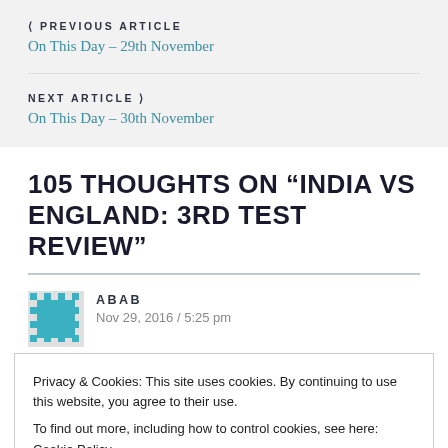< PREVIOUS ARTICLE
On This Day – 29th November
NEXT ARTICLE >
On This Day – 30th November
105 THOUGHTS ON "INDIA VS ENGLAND: 3RD TEST REVIEW"
ABAB
Nov 29, 2016 / 5:25 pm
Privacy & Cookies: This site uses cookies. By continuing to use this website, you agree to their use.
To find out more, including how to control cookies, see here: Cookie Policy
Close and accept
kicking on as well as digging in, and how he will fare in